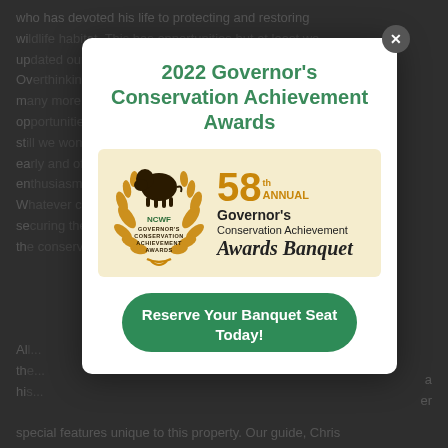who has devoted his life to protecting and restoring wildlife habitat. This has opportunities but also up...
2022 Governor's Conservation Achievement Awards
[Figure (logo): NCWF Governor's Conservation Achievement Awards badge with bison logo and laurel wreath, alongside text reading '58th ANNUAL Governor's Conservation Achievement Awards Banquet']
Reserve Your Banquet Seat Today!
special features unique to this property. Our guide, Chris